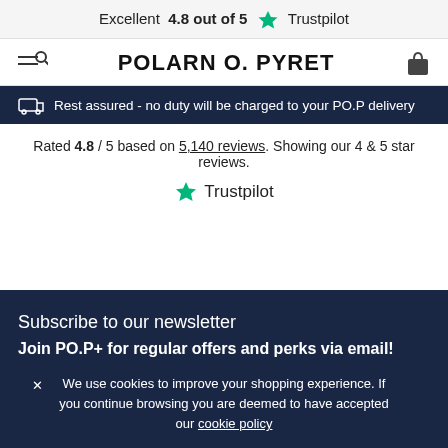Excellent 4.8 out of 5 ★ Trustpilot
POLARN O. PYRET
Rest assured - no duty will be charged to your PO.P delivery
Rated 4.8 / 5 based on 5,140 reviews. Showing our 4 & 5 star reviews.
[Figure (logo): Trustpilot logo with green star]
Subscribe to our newsletter
Join PO.P+ for regular offers and perks via email!
We use cookies to improve your shopping experience. If you continue browsing you are deemed to have accepted our cookie policy